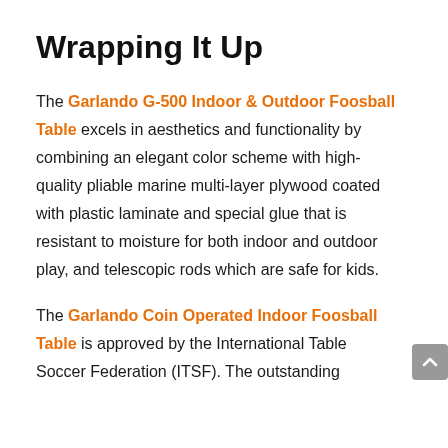Wrapping It Up
The Garlando G-500 Indoor & Outdoor Foosball Table excels in aesthetics and functionality by combining an elegant color scheme with high-quality pliable marine multi-layer plywood coated with plastic laminate and special glue that is resistant to moisture for both indoor and outdoor play, and telescopic rods which are safe for kids.
The Garlando Coin Operated Indoor Foosball Table is approved by the International Table Soccer Federation (ITSF). The outstanding